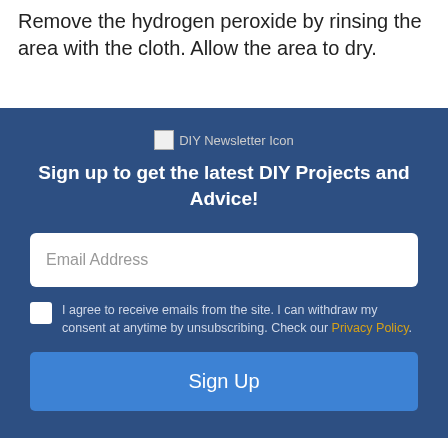Remove the hydrogen peroxide by rinsing the area with the cloth. Allow the area to dry.
[Figure (screenshot): Newsletter signup widget on a dark blue background with icon, heading, email input, consent checkbox, and Sign Up button]
Sign up to get the latest DIY Projects and Advice!
I agree to receive emails from the site. I can withdraw my consent at anytime by unsubscribing. Check our Privacy Policy.